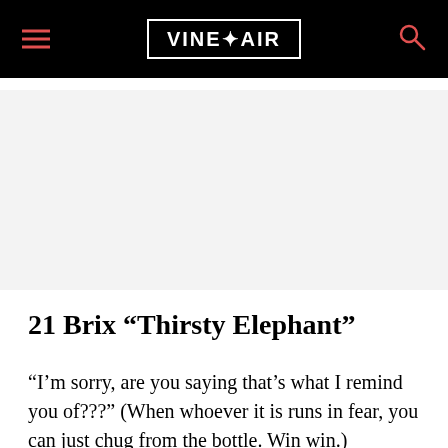VINEPAIR
[Figure (other): Gray advertisement placeholder area]
21 Brix “Thirsty Elephant”
“I’m sorry, are you saying that’s what I remind you of???” (When whoever it is runs in fear, you can just chug from the bottle. Win win.)